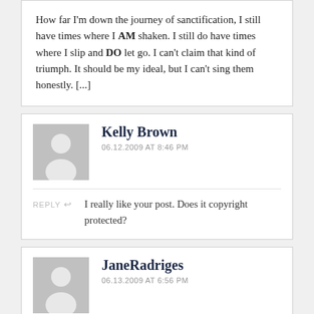How far I'm down the journey of sanctification, I still have times where I AM shaken. I still do have times where I slip and DO let go. I can't claim that kind of triumph. It should be my ideal, but I can't sing them honestly. [...]
Kelly Brown
06.12.2009 AT 8:46 PM
REPLY
I really like your post. Does it copyright protected?
JaneRadriges
06.13.2009 AT 6:56 PM